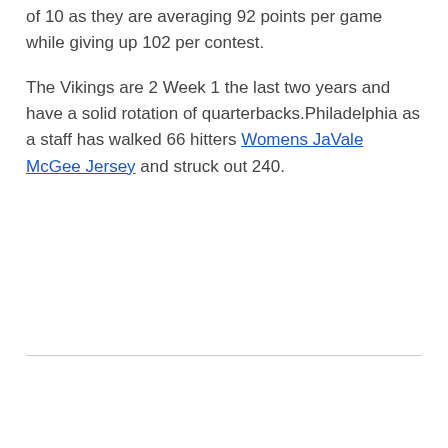of 10 as they are averaging 92 points per game while giving up 102 per contest.
The Vikings are 2 Week 1 the last two years and have a solid rotation of quarterbacks.Philadelphia as a staff has walked 66 hitters Womens JaVale McGee Jersey and struck out 240.